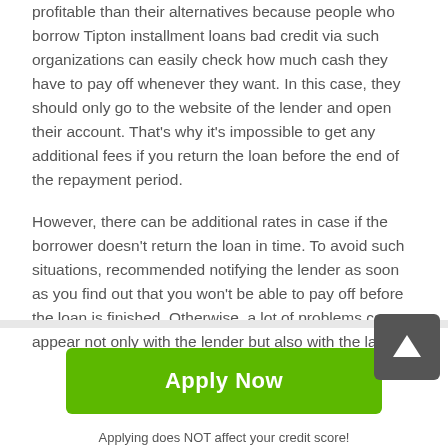profitable than their alternatives because people who borrow Tipton installment loans bad credit via such organizations can easily check how much cash they have to pay off whenever they want. In this case, they should only go to the website of the lender and open their account. That's why it's impossible to get any additional fees if you return the loan before the end of the repayment period.
However, there can be additional rates in case if the borrower doesn't return the loan in time. To avoid such situations, recommended notifying the lender as soon as you find out that you won't be able to pay off before the loan is finished. Otherwise, a lot of problems can appear not only with the lender but also with the law.
[Figure (other): Green 'Apply Now' button with subtext 'Applying does NOT affect your credit score! No credit check to apply.']
Applying does NOT affect your credit score!
No credit check to apply.